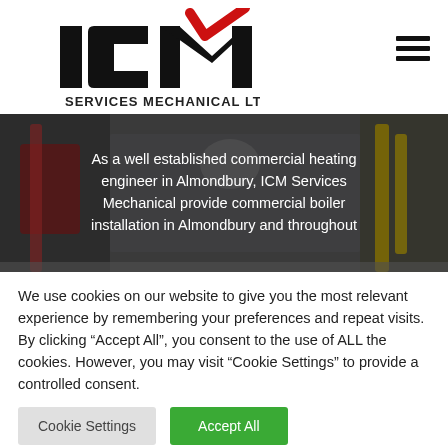[Figure (logo): ICM Services Mechanical Ltd logo — bold black ICM letters with a red checkmark above the M, and 'SERVICES MECHANICAL LTD' in smaller black text below]
[Figure (photo): Background photo of industrial/commercial boiler or heating equipment in red and yellow, with overlay text about ICM Services Mechanical commercial boiler installation in Almondbury]
As a well established commercial heating engineer in Almondbury, ICM Services Mechanical provide commercial boiler installation in Almondbury and throughout
We use cookies on our website to give you the most relevant experience by remembering your preferences and repeat visits. By clicking "Accept All", you consent to the use of ALL the cookies. However, you may visit "Cookie Settings" to provide a controlled consent.
Cookie Settings
Accept All